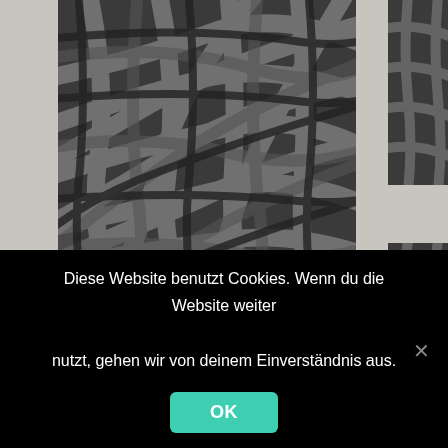[Figure (illustration): Abstract artwork showing overlapping curved brushstrokes in dark graphite/charcoal tones creating a woven or interlaced pattern. Multiple panels visible: a large central artwork panel and smaller right-side panels, displayed on a light gray wall background.]
Diese Website benutzt Cookies. Wenn du die Website weiter nutzt, gehen wir von deinem Einverständnis aus.
OK